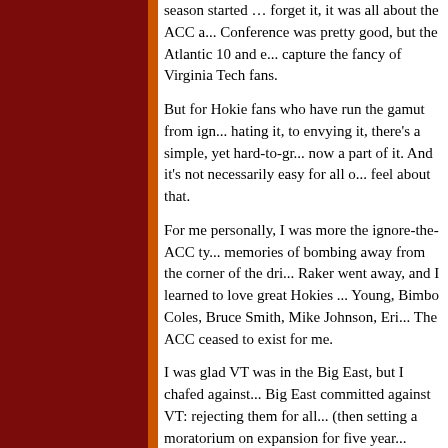season started … forget it, it was all about the ACC a... Conference was pretty good, but the Atlantic 10 and e... capture the fancy of Virginia Tech fans.

But for Hokie fans who have run the gamut from ign... hating it, to envying it, there's a simple, yet hard-to-gr... now a part of it. And it's not necessarily easy for all o... feel about that.

For me personally, I was more the ignore-the-ACC ty... memories of bombing away from the corner of the dri... Raker went away, and I learned to love great Hokies ... Young, Bimbo Coles, Bruce Smith, Mike Johnson, Eri... The ACC ceased to exist for me.

I was glad VT was in the Big East, but I chafed against... Big East committed against VT: rejecting them for all... (then setting a moratorium on expansion for five year... Dame shortly thereafter); failing to promote the Hokie... conference title in 1995 and 1996; finally admitting VT... entry fees; and so on and so forth.

I never gave the ACC much thought. But in the few da... admitted to the league, I've found myself thinking, "Th...

Hokie fans are going to love the ACC. They're going t... the tradition-laden basketball (dare we dream that Ca... even if VT does stink?), the fair and equal treatment o... (except when Duke gets the calls in hoops), and the t... coverage from the media in Maryland, Virginia, and N... that a huge chunk of VT's alumni and students call ho...